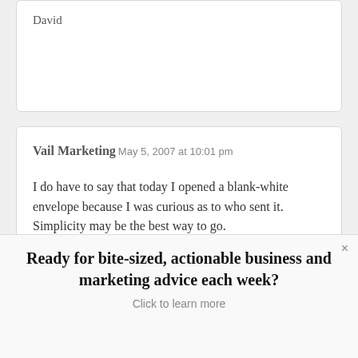David
Vail Marketing May 5, 2007 at 10:01 pm
I do have to say that today I opened a blank-white envelope because I was curious as to who sent it. Simplicity may be the best way to go.
Ready for bite-sized, actionable business and marketing advice each week? Click to learn more